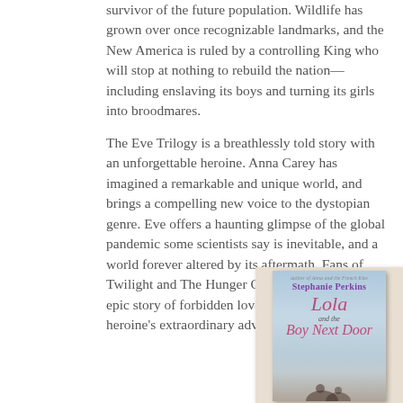survivor of the future population. Wildlife has grown over once recognizable landmarks, and the New America is ruled by a controlling King who will stop at nothing to rebuild the nation—including enslaving its boys and turning its girls into broodmares.
The Eve Trilogy is a breathlessly told story with an unforgettable heroine. Anna Carey has imagined a remarkable and unique world, and brings a compelling new voice to the dystopian genre. Eve offers a haunting glimpse of the global pandemic some scientists say is inevitable, and a world forever altered by its aftermath. Fans of Twilight and The Hunger Games will revel in this epic story of forbidden love, and an unforgettable heroine's extraordinary adventure
[Figure (illustration): Book cover for 'Lola and the Boy Next Door' by Stephanie Perkins, with subtitle 'author of Anna and the French Kiss'. Cover shows a romantic scene with blue sky background and a couple silhouette at the bottom. The title 'Lola' is written in large pink cursive script, with 'and the Boy Next Door' below. The cover is displayed inside a beige/cream colored book display panel.]